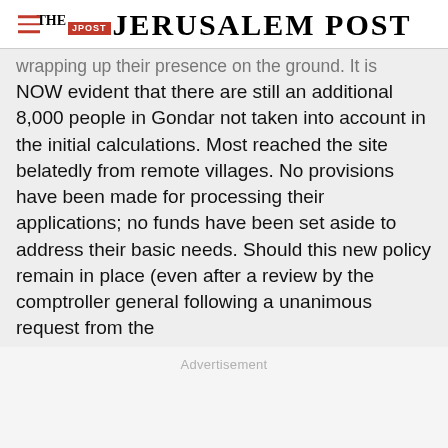THE JERUSALEM POST
wrapping up their presence on the ground. It is NOW evident that there are still an additional 8,000 people in Gondar not taken into account in the initial calculations. Most reached the site belatedly from remote villages. No provisions have been made for processing their applications; no funds have been set aside to address their basic needs. Should this new policy remain in place (even after a review by the comptroller general following a unanimous request from the
Advertisement